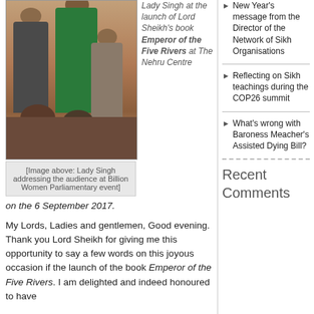[Figure (photo): Lady Singh addressing the audience at Billion Women Parliamentary event]
[Image above: Lady Singh addressing the audience at Billion Women Parliamentary event]
Lady Singh at the launch of Lord Sheikh's book Emperor of the Five Rivers at The Nehru Centre on the 6 September 2017.
My Lords, Ladies and gentlemen, Good evening. Thank you Lord Sheikh for giving me this opportunity to say a few words on this joyous occasion if the launch of the book Emperor of the Five Rivers. I am delighted and indeed honoured to have
New Year's message from the Director of the Network of Sikh Organisations
Reflecting on Sikh teachings during the COP26 summit
What's wrong with Baroness Meacher's Assisted Dying Bill?
Recent Comments